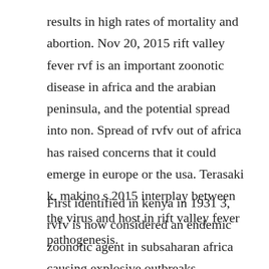results in high rates of mortality and abortion. Nov 20, 2015 rift valley fever rvf is an important zoonotic disease in africa and the arabian peninsula, and the potential spread into non. Spread of rvfv out of africa has raised concerns that it could emerge in europe or the usa. Terasaki k, makino s 2015 interplay between the virus and host in rift valley fever pathogenesis.
First identified in kenya in 1931 3, rvfv is now considered an endemic zoonotic agent in subsaharan africa causing explosive outbreaks